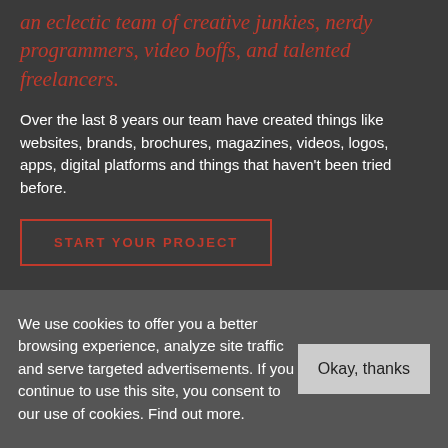an eclectic team of creative junkies, nerdy programmers, video boffs, and talented freelancers.
Over the last 8 years our team have created things like websites, brands, brochures, magazines, videos, logos, apps, digital platforms and things that haven't been tried before.
START YOUR PROJECT
We use cookies to offer you a better browsing experience, analyze site traffic and serve targeted advertisements. If you continue to use this site, you consent to our use of cookies. Find out more.
Okay, thanks